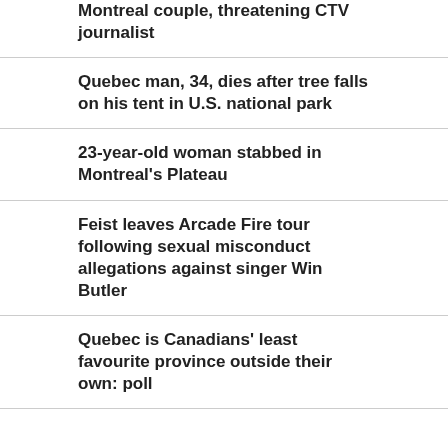Montreal couple, threatening CTV journalist
Quebec man, 34, dies after tree falls on his tent in U.S. national park
23-year-old woman stabbed in Montreal's Plateau
Feist leaves Arcade Fire tour following sexual misconduct allegations against singer Win Butler
Quebec is Canadians' least favourite province outside their own: poll